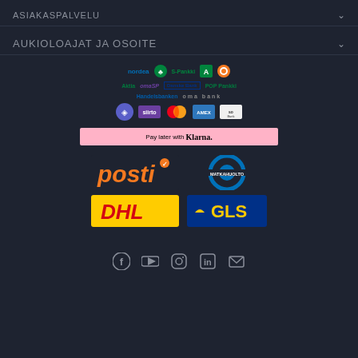ASIAKASPALVELU
AUKIOLOAJAT JA OSOITE
[Figure (logo): Payment method logos: Nordea, OP/Pivo tree icon, S-Pankki, Aktia, Handelsbanken, OmaSP, Danske Bank, POP Pankki, MobilePay, Siirto, Mastercard, American Express, and Visa/card logos, plus Klarna Pay Later banner]
[Figure (logo): Shipping logos: Posti (orange), Matkahuolto (blue circle), DHL (yellow/red), GLS (blue/yellow)]
[Figure (illustration): Social media footer icons: Facebook, YouTube, Instagram, LinkedIn, Email]